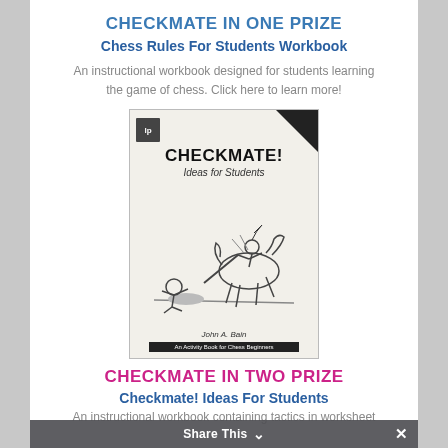CHECKMATE IN ONE PRIZE
Chess Rules For Students Workbook
An instructional workbook designed for students learning the game of chess. Click here to learn more!
[Figure (photo): Book cover of 'CHECKMATE! Ideas for Students' by John A. Bain, showing a chess-themed illustration of figures in a jousting/action scene, with a small publisher logo in the top left and a black corner ribbon in the top right.]
CHECKMATE IN TWO PRIZE
Checkmate! Ideas For Students
An instructional workbook containing tactics in worksheet
Share This